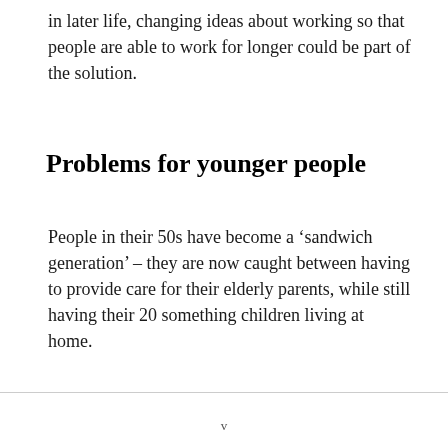in later life, changing ideas about working so that people are able to work for longer could be part of the solution.
Problems for younger people
People in their 50s have become a ‘sandwich generation’ – they are now caught between having to provide care for their elderly parents, while still having their 20 something children living at home.
v